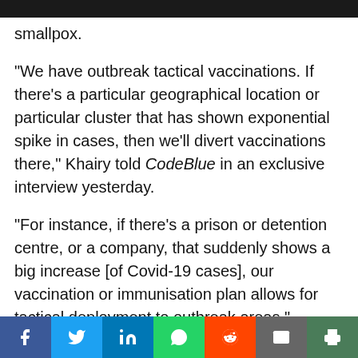smallpox.
“We have outbreak tactical vaccinations. If there’s a particular geographical location or particular cluster that has shown exponential spike in cases, then we’ll divert vaccinations there,” Khairy told CodeBlue in an exclusive interview yesterday.
“For instance, if there’s a prison or detention centre, or a company, that suddenly shows a big increase [of Covid-19 cases], our vaccination or immunisation plan allows for tactical deployment to outbreak areas.”
Khairy said the ring vaccination strategy